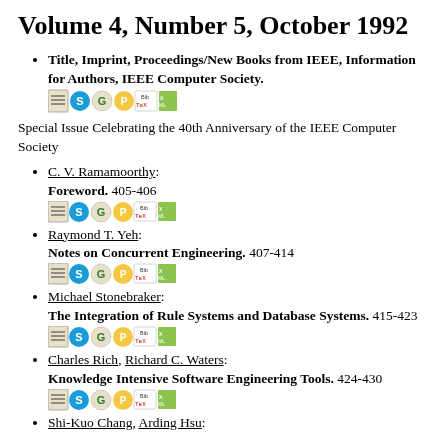Volume 4, Number 5, October 1992
Title, Imprint, Proceedings/New Books from IEEE, Information for Authors, IEEE Computer Society.
Special Issue Celebrating the 40th Anniversary of the IEEE Computer Society
C. V. Ramamoorthy: Foreword. 405-406
Raymond T. Yeh: Notes on Concurrent Engineering. 407-414
Michael Stonebraker: The Integration of Rule Systems and Database Systems. 415-423
Charles Rich, Richard C. Waters: Knowledge Intensive Software Engineering Tools. 424-430
Shi-Kuo Chang, Arding Hsu: